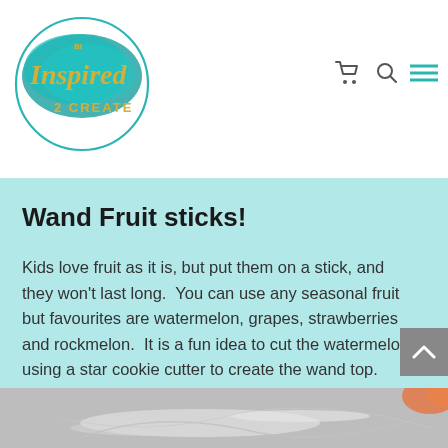[Figure (logo): Be Inspired 2 Create logo — circular logo with teal watercolor splash and gold italic script text 'Inspired' over a teal blob shape, with '2 CREATE' below in smaller text]
Wand Fruit sticks!
Kids love fruit as it is, but put them on a stick, and they won't last long.  You can use any seasonal fruit but favourites are watermelon, grapes, strawberries and rockmelon.  It is a fun idea to cut the watermelon using a star cookie cutter to create the wand top.
[Figure (photo): Close-up photo of plastic wrap or cellophane on a surface, with a blurred orange object visible in the top right corner]